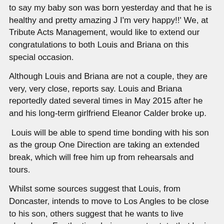to say my baby son was born yesterday and that he is healthy and pretty amazing J I'm very happy!!' We, at Tribute Acts Management, would like to extend our congratulations to both Louis and Briana on this special occasion.
Although Louis and Briana are not a couple, they are very, very close, reports say. Louis and Briana reportedly dated several times in May 2015 after he and his long-term girlfriend Eleanor Calder broke up.
Louis will be able to spend time bonding with his son as the group One Direction are taking an extended break, which will free him up from rehearsals and tours.
Whilst some sources suggest that Louis, from Doncaster, intends to move to Los Angles to be close to his son, others suggest that he wants to live elsewhere. For the time-being, reports state that he is renting his own home nearby for at least the next six months and that he has also leased a property for Briana and their son.